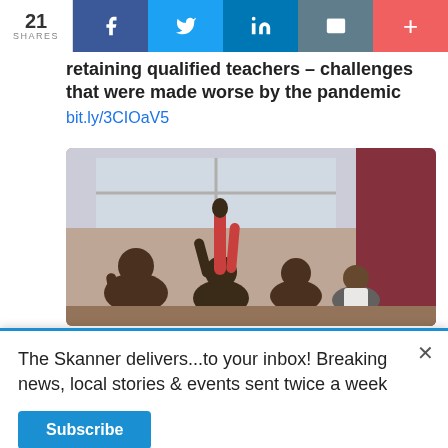21 SHARES | Facebook | Twitter | LinkedIn | Email | +
retaining qualified teachers – challenges that were made worse by the pandemic bit.ly/3CIOaV5
[Figure (photo): Students in a classroom raising their hands, viewed from behind]
The Skanner delivers...to your inbox! Breaking news, local stories & events sent twice a week
Subscribe
[Figure (other): Autobuses Lucano advertisement: SERVICIO DE PAQUETERÍA 832-798-9608]